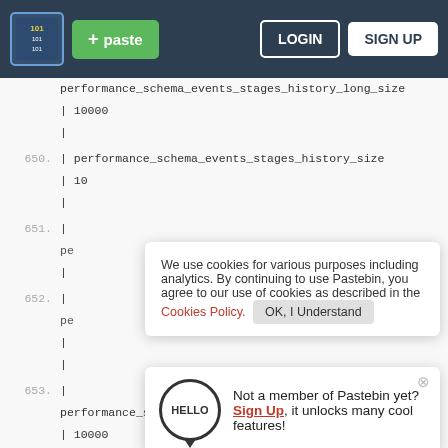[Figure (screenshot): Pastebin website navigation bar with logo, green paste button, LOGIN and SIGN UP buttons on dark navy background]
| performance_schema_events_stages_history_long_size
| 10000
|
650. | performance_schema_events_stages_history_size
| 10
|
651. | pe ...
|
|
652. | pe ...
|
|
653. |
performance_schema_events_waits_history_long_size
| 10000
We use cookies for various purposes including analytics. By continuing to use Pastebin, you agree to our use of cookies as described in the Cookies Policy. OK, I Understand
Not a member of Pastebin yet? Sign Up, it unlocks many cool features!